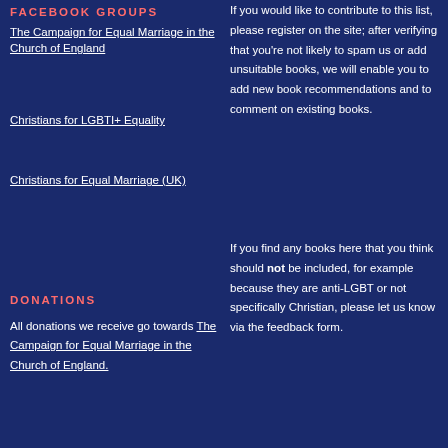Facebook Groups
The Campaign for Equal Marriage in the Church of England
Christians for LGBTI+ Equality
Christians for Equal Marriage (UK)
DONATIONS
All donations we receive go towards The Campaign for Equal Marriage in the Church of England.
If you would like to contribute to this list, please register on the site; after verifying that you're not likely to spam us or add unsuitable books, we will enable you to add new book recommendations and to comment on existing books.
If you find any books here that you think should not be included, for example because they are anti-LGBT or not specifically Christian, please let us know via the feedback form.